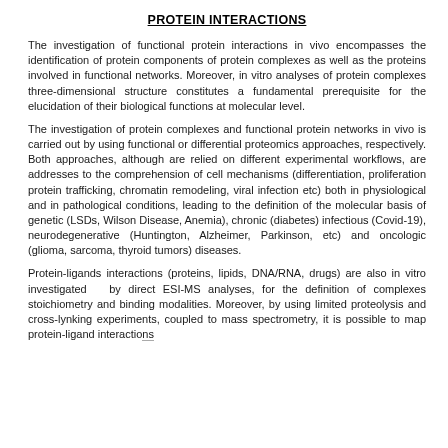PROTEIN INTERACTIONS
The investigation of functional protein interactions in vivo encompasses the identification of protein components of protein complexes as well as the proteins involved in functional networks. Moreover, in vitro analyses of protein complexes three-dimensional structure constitutes a fundamental prerequisite for the elucidation of their biological functions at molecular level.
The investigation of protein complexes and functional protein networks in vivo is carried out by using functional or differential proteomics approaches, respectively. Both approaches, although are relied on different experimental workflows, are addresses to the comprehension of cell mechanisms (differentiation, proliferation protein trafficking, chromatin remodeling, viral infection etc) both in physiological and in pathological conditions, leading to the definition of the molecular basis of genetic (LSDs, Wilson Disease, Anemia), chronic (diabetes) infectious (Covid-19), neurodegenerative (Huntington, Alzheimer, Parkinson, etc) and oncologic (glioma, sarcoma, thyroid tumors) diseases.
Protein-ligands interactions (proteins, lipids, DNA/RNA, drugs) are also in vitro investigated by direct ESI-MS analyses, for the definition of complexes stoichiometry and binding modalities. Moreover, by using limited proteolysis and cross-lynking experiments, coupled to mass spectrometry, it is possible to map protein-ligand interactions...